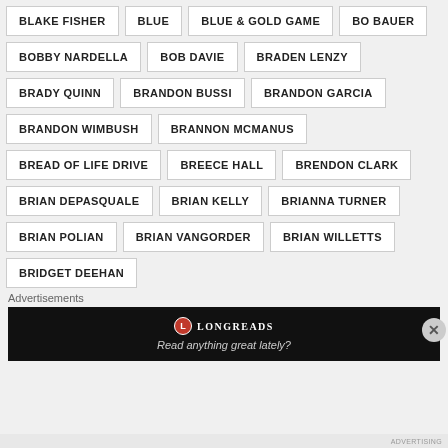BLAKE FISHER
BLUE
BLUE & GOLD GAME
BO BAUER
BOBBY NARDELLA
BOB DAVIE
BRADEN LENZY
BRADY QUINN
BRANDON BUSSI
BRANDON GARCIA
BRANDON WIMBUSH
BRANNON MCMANUS
BREAD OF LIFE DRIVE
BREECE HALL
BRENDON CLARK
BRIAN DEPASQUALE
BRIAN KELLY
BRIANNA TURNER
BRIAN POLIAN
BRIAN VANGORDER
BRIAN WILLETTS
BRIDGET DEEHAN
Advertisements
[Figure (screenshot): Longreads advertisement banner: black background with Longreads logo and text 'Read anything great lately?']